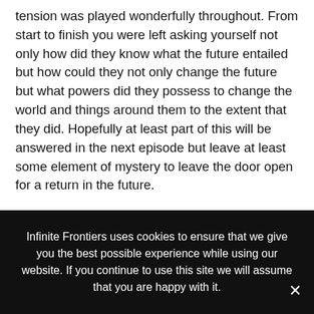tension was played wonderfully throughout. From start to finish you were left asking yourself not only how did they know what the future entailed but how could they not only change the future but what powers did they possess to change the world and things around them to the extent that they did. Hopefully at least part of this will be answered in the next episode but leave at least some element of mystery to leave the door open for a return in the future.
Obviously having the Doctor trapped inside the laboratory was intended to tease the fans and be the first hint at a regeneration this year. Certainly we saw in the series trailer and from early press photos that Capaldi's Doctor has been seen to go through some form of regeneration process during the season (as you can see here) but what that will entail and
Infinite Frontiers uses cookies to ensure that we give you the best possible experience while using our website. If you continue to use this site we will assume that you are happy with it.